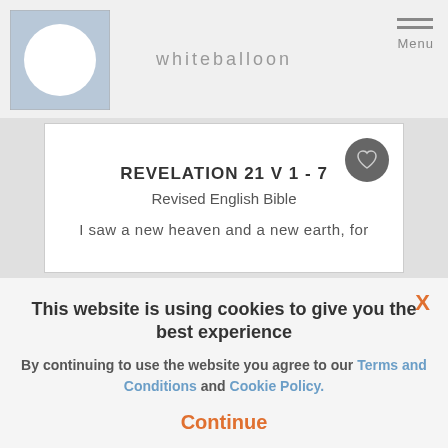whiteballoon
REVELATION 21 V 1 - 7
Revised English Bible
I saw a new heaven and a new earth, for
This website is using cookies to give you the best experience
By continuing to use the website you agree to our Terms and Conditions and Cookie Policy.
Continue